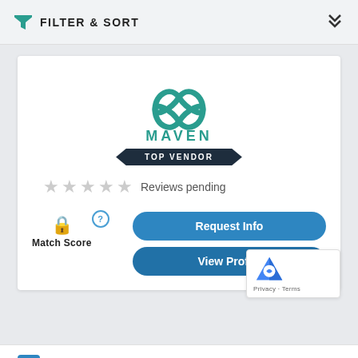FILTER & SORT
[Figure (logo): Maven logo with teal interlocking loops symbol above the text MAVEN, with a TOP VENDOR ribbon banner below]
Reviews pending
Match Score
Request Info
View Profile
Privacy · Terms
COMPARE